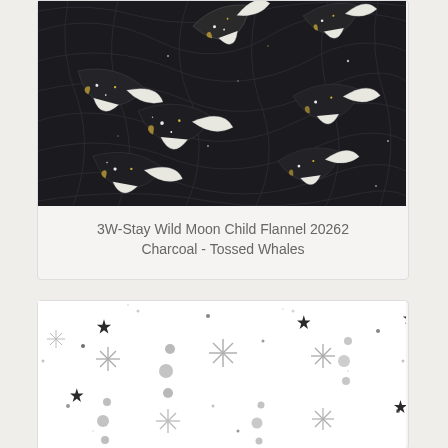[Figure (illustration): Dark charcoal/black patterned fabric with illustrated whales decorated with stars, moons, and golden accents, with white wing/fin details on a dark background with swirling lines]
3W-Stay Wild Moon Child Flannel 20262 Charcoal - Tossed Whales
[Figure (illustration): White fabric with grey crescent moons showing moon phases, dark stars, grey star/sun bursts, and scattered dots on a white background]